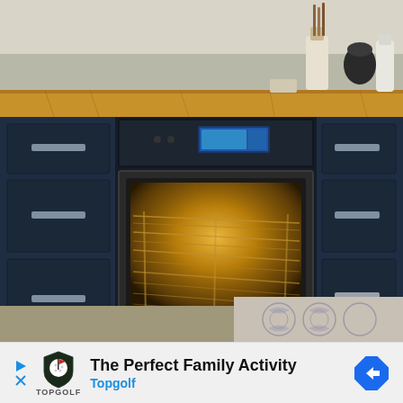[Figure (photo): A modern kitchen with dark navy blue cabinets and drawers featuring silver bar handles. In the center is a built-in stainless steel oven with its door open slightly, glowing with warm amber/golden interior light illuminating the oven racks. The countertop is wooden/butcher block. Kitchen utensils and containers are visible on the counter in the background. A patterned tile/rug is visible on the floor in the lower right.]
[Figure (infographic): Advertisement banner for Topgolf. Shows Topgolf shield logo, play and close icons, text 'The Perfect Family Activity' in bold and 'Topgolf' in blue, and a blue diamond-shaped navigation arrow icon on the right.]